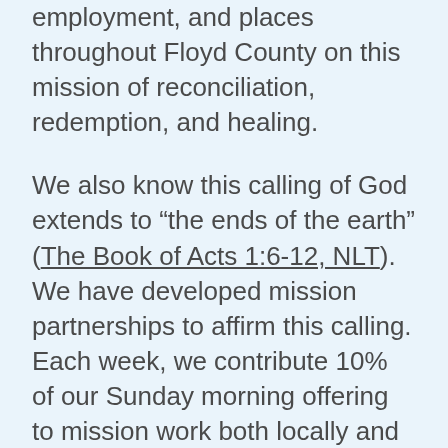employment, and places throughout Floyd County on this mission of reconciliation, redemption, and healing.
We also know this calling of God extends to "the ends of the earth" (The Book of Acts 1:6-12, NLT). We have developed mission partnerships to affirm this calling. Each week, we contribute 10% of our Sunday morning offering to mission work both locally and globally. We contribute to United Mission, our regional mission partnership through ABC IN/KY. So far in 2019 (January - October), our church has donated $15,651.92 to missional work. A portion of that